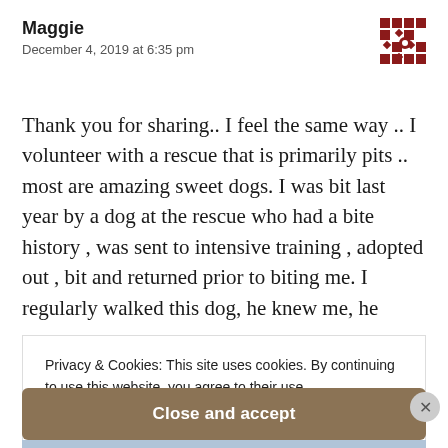Maggie
December 4, 2019 at 6:35 pm
[Figure (illustration): Decorative avatar/icon with a red and white geometric tile pattern]
Thank you for sharing.. I feel the same way .. I volunteer with a rescue that is primarily pits .. most are amazing sweet dogs. I was bit last year by a dog at the rescue who had a bite history , was sent to intensive training , adopted out , bit and returned prior to biting me. I regularly walked this dog, he knew me, he
Privacy & Cookies: This site uses cookies. By continuing to use this website, you agree to their use.
To find out more, including how to control cookies, see here:
Cookie Policy
Close and accept